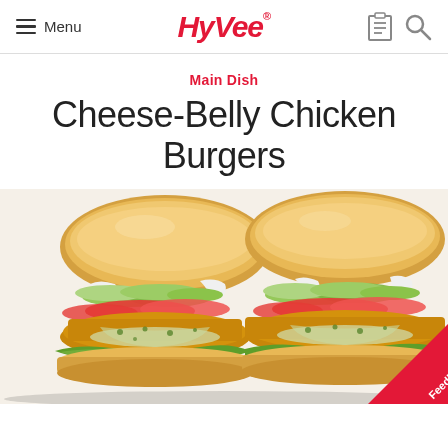Menu | HyVee | [notepad icon] [search icon]
Main Dish
Cheese-Belly Chicken Burgers
[Figure (photo): Two cheese-stuffed breaded chicken burgers on buns with avocado slices, tomato slices, lettuce, and melted white cheese, shown close-up from the front. A red 'Feedback' badge is visible in the bottom-right corner.]